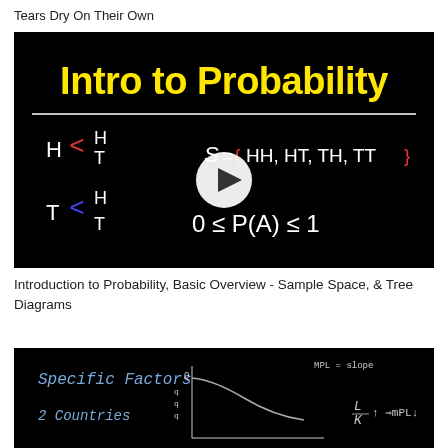Tears Dry On Their Own
[Figure (screenshot): Thumbnail of 'Intro to Probability' video showing probability tree diagrams (H and T branches) and the formula 0 ≤ P(A) ≤ 1, with a play button overlay, on a black background with yellow title text.]
Introduction to Probability, Basic Overview - Sample Space, & Tree Diagrams
[Figure (screenshot): Thumbnail of a video about Specific Factors model with 2 Countries, showing handwritten notes on a black chalkboard including MPL = slope and L/K with arrows.]